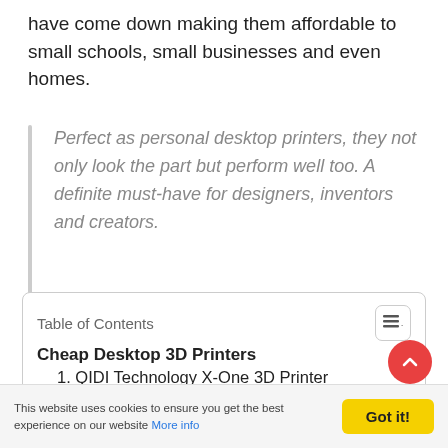have come down making them affordable to small schools, small businesses and even homes.
Perfect as personal desktop printers, they not only look the part but perform well too. A definite must-have for designers, inventors and creators.
Table of Contents
Cheap Desktop 3D Printers
1. QIDI Technology X-One 3D Printer
2. XYZprinting da Vinci Jr 3D Printer
3. FlashForge 3D Printers Finder
This website uses cookies to ensure you get the best experience on our website More info   Got it!